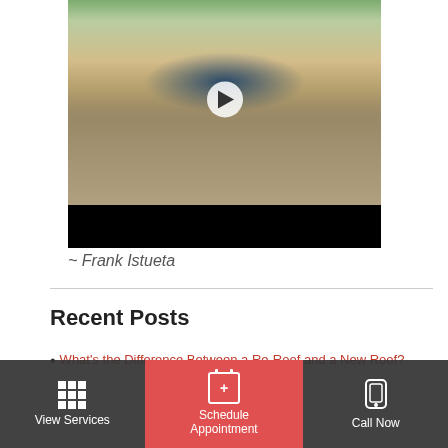[Figure (screenshot): Video thumbnail showing an aerial view of a luxury home with a pool, statues, and tropical landscaping. A white play button is centered on the thumbnail. Below the thumbnail is a black video control bar.]
~ Frank Istueta
Recent Posts
What's the Difference Between a Re-Roof and a New Roof?
[Figure (screenshot): Bottom navigation bar with three sections: 'View Services' (grid icon), 'Schedule Appointment' (calendar icon, red background), and 'Call Now' (phone icon).]